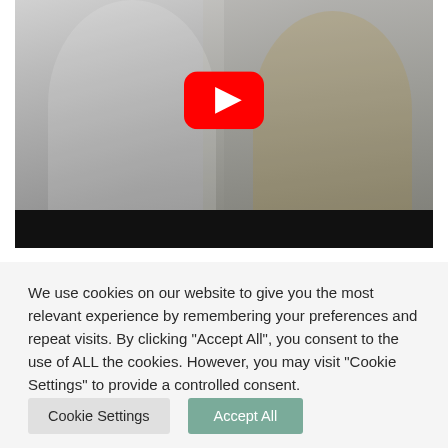[Figure (screenshot): A YouTube video thumbnail showing two people — a man in a white t-shirt on the left and a woman in a yellow top on the right — against a gray background. A red YouTube play button is overlaid in the center. Below the photo is a black bar.]
We use cookies on our website to give you the most relevant experience by remembering your preferences and repeat visits. By clicking "Accept All", you consent to the use of ALL the cookies. However, you may visit "Cookie Settings" to provide a controlled consent.
Cookie Settings
Accept All